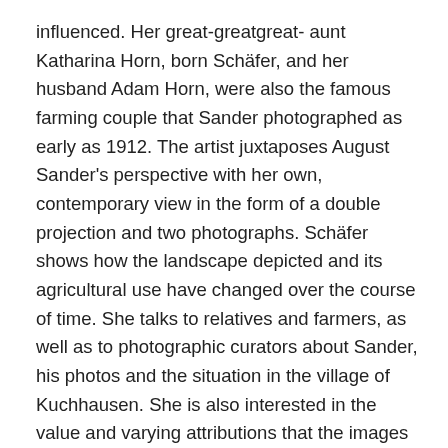influenced. Her great-greatgreat- aunt Katharina Horn, born Schäfer, and her husband Adam Horn, were also the famous farming couple that Sander photographed as early as 1912. The artist juxtaposes August Sander's perspective with her own, contemporary view in the form of a double projection and two photographs. Schäfer shows how the landscape depicted and its agricultural use have changed over the course of time. She talks to relatives and farmers, as well as to photographic curators about Sander, his photos and the situation in the village of Kuchhausen. She is also interested in the value and varying attributions that the images have experienced in the art world and in private memories. The artist questions existing pictorial orders and narratives with her work, and so ventures her own personal search for home.